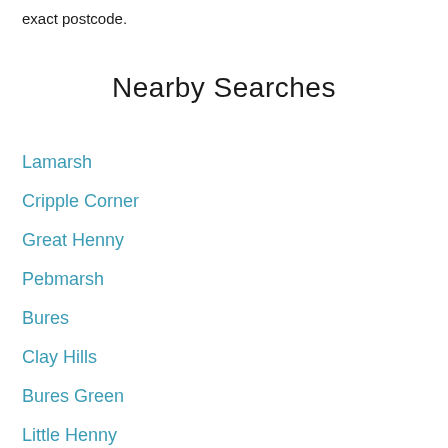exact postcode.
Nearby Searches
Lamarsh
Cripple Corner
Great Henny
Pebmarsh
Bures
Clay Hills
Bures Green
Little Henny